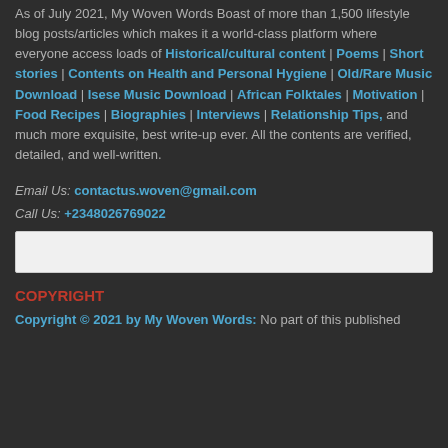As of July 2021, My Woven Words Boast of more than 1,500 lifestyle blog posts/articles which makes it a world-class platform where everyone access loads of Historical/cultural content | Poems | Short stories | Contents on Health and Personal Hygiene | Old/Rare Music Download | Isese Music Download | African Folktales | Motivation | Food Recipes | Biographies | Interviews | Relationship Tips, and much more exquisite, best write-up ever. All the contents are verified, detailed, and well-written.
Email Us: contactus.woven@gmail.com
Call Us: +2348026769022
COPYRIGHT
Copyright © 2021 by My Woven Words: No part of this published